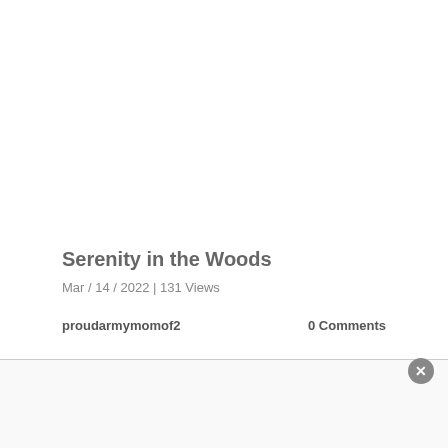Serenity in the Woods
Mar / 14 / 2022 | 131 Views
proudarmymomof2
0 Comments
[Figure (photo): Partial view of a beige/tan colored image at the bottom of the page, partially obscured by a bottom overlay bar]